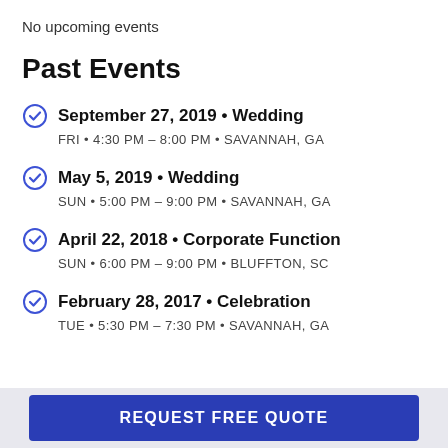No upcoming events
Past Events
September 27, 2019 • Wedding
FRI • 4:30 PM – 8:00 PM • SAVANNAH, GA
May 5, 2019 • Wedding
SUN • 5:00 PM – 9:00 PM • SAVANNAH, GA
April 22, 2018 • Corporate Function
SUN • 6:00 PM – 9:00 PM • BLUFFTON, SC
February 28, 2017 • Celebration
TUE • 5:30 PM – 7:30 PM • SAVANNAH, GA
REQUEST FREE QUOTE